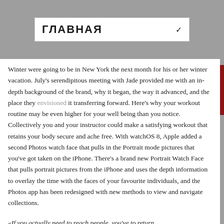ГЛАВНАЯ
Winter were going to be in New York the next month for his or her winter vacation. July's serendipitous meeting with Jade provided me with an in-depth background of the brand, why it began, the way it advanced, and the place they envisioned it transferring forward. Here's why your workout routine may be even higher for your well being than you notice. Collectively you and your instructor could make a satisfying workout that retains your body secure and ache free. With watchOS 8, Apple added a second Photos watch face that pulls in the Portrait mode pictures that you've got taken on the iPhone. There's a brand new Portrait Watch Face that pulls portrait pictures from the iPhone and uses the depth information to overlay the time with the faces of your favourite individuals, and the Photos app has been redesigned with new methods to view and navigate collections.

«If you actually need to reach people, you've to return
«If you actually need to reach people, you've to return